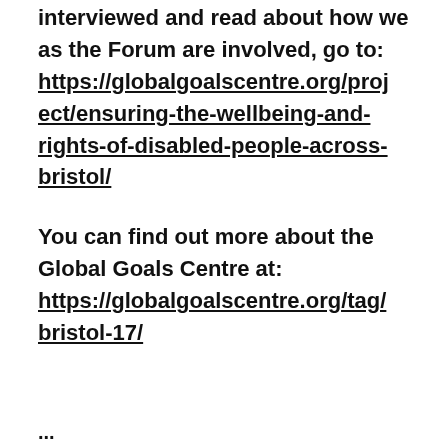interviewed and read about how we as the Forum are involved, go to: https://globalgoalscentre.org/project/ensuring-the-wellbeing-and-rights-of-disabled-people-across-bristol/
You can find out more about the Global Goals Centre at: https://globalgoalscentre.org/tag/bristol-17/
...